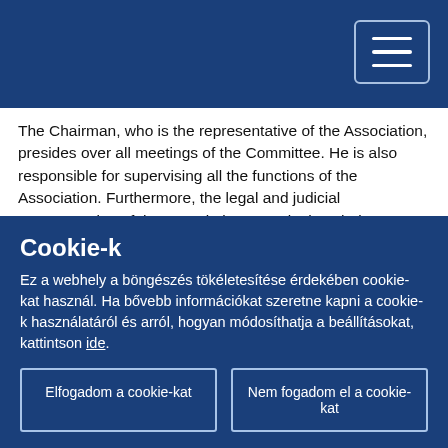The Chairman, who is the representative of the Association, presides over all meetings of the Committee. He is also responsible for supervising all the functions of the Association. Furthermore, the legal and judicial representation of the Association vests in the Chairman together with the Executive Secretary of the Association.
In Malta there are 54 Local Councils, and another 14 are found in the sister island of Gozo, bringing the total of Local Councils in Malta and Gozo to 68. Elections for Local Councils are held on a rotating basis every three years, and the number
Cookie-k
Ez a webhely a böngészés tökéletesítése érdekében cookie-kat használ. Ha bővebb információkat szeretne kapni a cookie-k használatáról és arról, hogyan módosíthatja a beállításokat, kattintson ide.
Elfogadom a cookie-kat
Nem fogadom el a cookie-kat